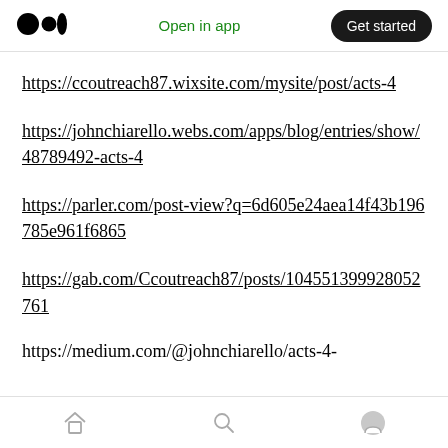Medium logo | Open in app | Get started
https://ccoutreach87.wixsite.com/mysite/post/acts-4
https://johnchiarello.webs.com/apps/blog/entries/show/48789492-acts-4
https://parler.com/post-view?q=6d605e24aea14f43b196785e961f6865
https://gab.com/Ccoutreach87/posts/104551399928052761
https://medium.com/@johnchiarello/acts-4-
Home | Search | Profile